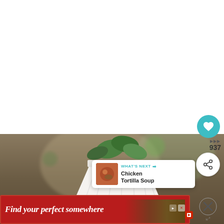[Figure (photo): White top area - blank white space]
[Figure (photo): Photo of a white geometric plant pot with green leaves/plant, on a brown/tan blurred background]
[Figure (infographic): Heart save button (teal circle) with count 937 below]
[Figure (infographic): Share button (white circle with share icon)]
[Figure (infographic): What's Next banner showing Chicken Tortilla Soup with thumbnail image]
[Figure (infographic): Advertisement banner: Find your perfect somewhere - red background with travel imagery]
[Figure (infographic): Close X button with dots icon to the right of ad]